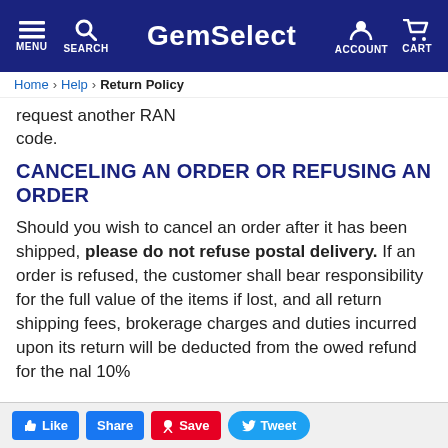GemSelect — MENU | SEARCH | ACCOUNT | CART
request another RAN code.
CANCELING AN ORDER OR REFUSING AN ORDER
Should you wish to cancel an order after it has been shipped, please do not refuse postal delivery. If an order is refused, the customer shall bear responsibility for the full value of the items if lost, and all return shipping fees, brokerage charges and duties incurred upon its return will be deducted from the owed refund for the [additional] 10% [apply to refused]